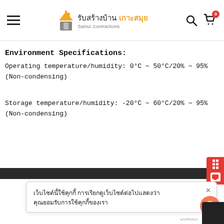รับสร้างบ้าน เกาะสมุย - Samui Contractions
Environment Specifications:
Operating temperature/humidity: 0°C ~ 50°C/20% ~ 95% (Non-condensing)
Storage temperature/humidity: -20°C ~ 60°C/20% ~ 95% (Non-condensing)
เว็บไซต์นี้ใช้คุกกี้ การเรียกดูเว็บไซต์ต่อไปแสดงว่าคุณยอมรับการใช้คุกกี้ของเรา